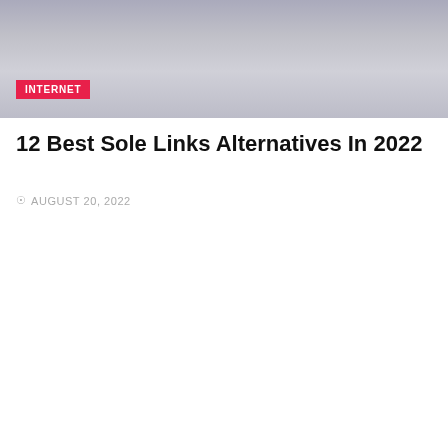[Figure (photo): Partial top image, dark gray tones, appears to be a cropped photo with an INTERNET badge label overlay]
12 Best Sole Links Alternatives In 2022
AUGUST 20, 2022
[Figure (photo): Dark fantasy illustration showing a figure standing on a gargoyle statue against a stormy sky with flying creatures and fire below. INTERNET badge label overlay at bottom left.]